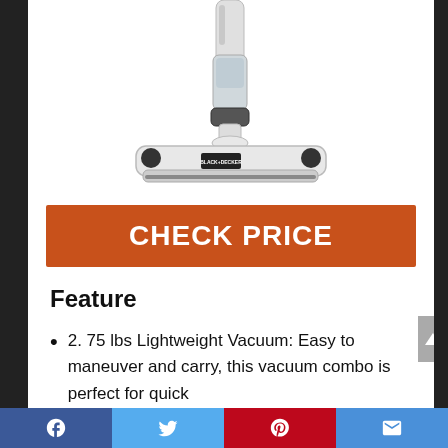[Figure (photo): A BLACK+DECKER upright/stick vacuum cleaner shown from the side, white colored with a floor brush head and narrow body, partially cropped at the top. The Black+Decker logo is visible on the floor head.]
CHECK PRICE
Feature
2. 75 lbs Lightweight Vacuum: Easy to maneuver and carry, this vacuum combo is perfect for quick
Social share bar: Facebook, Twitter, Pinterest, Email